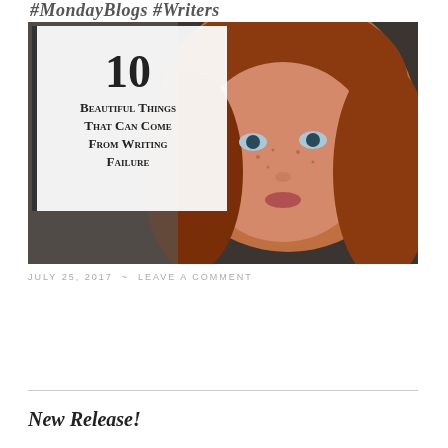#MondayBlogs #Writers
[Figure (photo): Blog post thumbnail image showing a young woman with red hair and freckles, with overlay text reading '10 Beautiful Things That Can Come From Writing Failure']
JULY 25, 2017 ~ LEAVE A COMMENT
New Release!